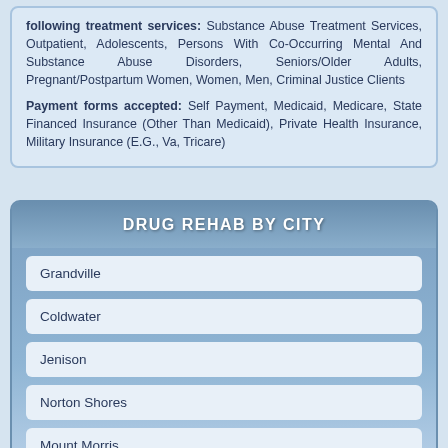following treatment services: Substance Abuse Treatment Services, Outpatient, Adolescents, Persons With Co-Occurring Mental And Substance Abuse Disorders, Seniors/Older Adults, Pregnant/Postpartum Women, Women, Men, Criminal Justice Clients
Payment forms accepted: Self Payment, Medicaid, Medicare, State Financed Insurance (Other Than Medicaid), Private Health Insurance, Military Insurance (E.G., Va, Tricare)
DRUG REHAB BY CITY
Grandville
Coldwater
Jenison
Norton Shores
Mount Morris